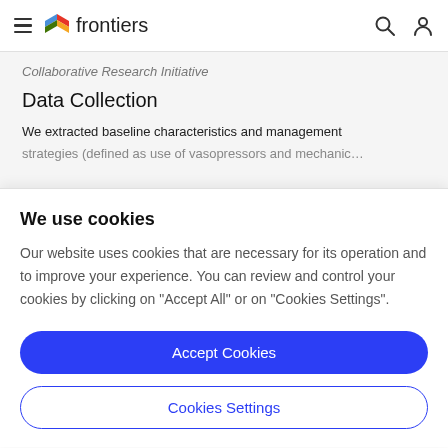frontiers
Collaborative Research Initiative
Data Collection
We extracted baseline characteristics and management strategies (defined as use of vasopressors and mechanical
We use cookies
Our website uses cookies that are necessary for its operation and to improve your experience. You can review and control your cookies by clicking on "Accept All" or on "Cookies Settings".
Accept Cookies
Cookies Settings